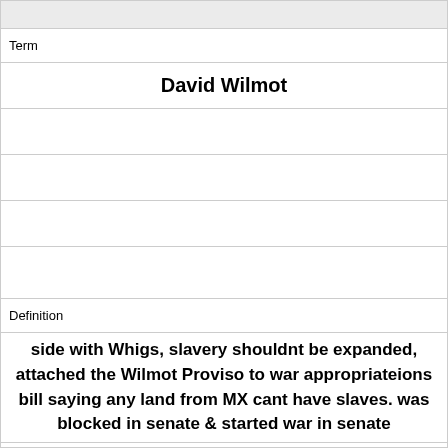| Term | Definition |
| --- | --- |
| David Wilmot | side with Whigs, slavery shouldnt be expanded, attached the Wilmot Proviso to war appropriateions bill saying any land from MX cant have slaves. was blocked in senate & started war in senate |